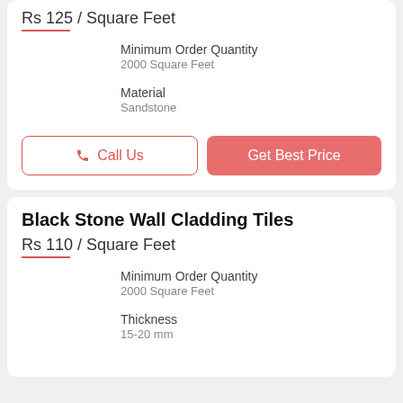Rs 125 / Square Feet
Minimum Order Quantity
2000 Square Feet
Material
Sandstone
Call Us
Get Best Price
Black Stone Wall Cladding Tiles
Rs 110 / Square Feet
Minimum Order Quantity
2000 Square Feet
Thickness
15-20 mm